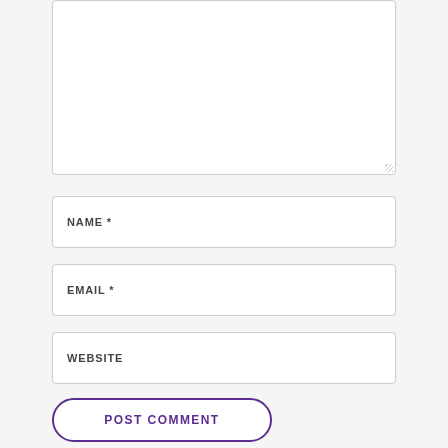[Figure (screenshot): A comment form with a large textarea at the top (empty), followed by input fields for NAME*, EMAIL*, and WEBSITE, and a POST COMMENT button with purple border at the bottom.]
NAME *
EMAIL *
WEBSITE
POST COMMENT